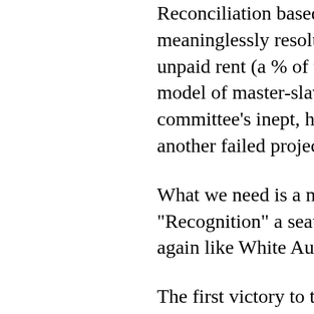Reconciliation based on a 50 meaninglessly resolution to our p unpaid rent (a % of the GNP) model of master-slave that th committee's inept, hare-brain another failed project.
What we need is a new mode "Recognition" a seat in the fr again like White Australia did.
The first victory to the First Na changes to the Racial Discrim legislative bi-partisan support redneck journalists against ou
The next victory will be when it the big "A".
The writing is on the wall for t week to the extent where eve